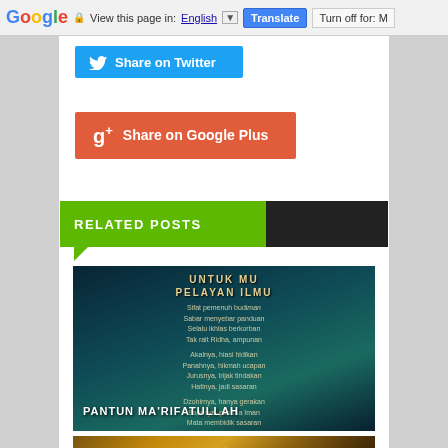Google — View this page in: English | Translate | Turn off for: M
[Figure (screenshot): Twitter Share button in blue]
[Figure (screenshot): Share on Google Plus button in red/orange]
RELATED POSTS
[Figure (photo): Dark teal image with Indonesian poem text - UNTUK MU PELAYAN ILMU / PANTUN MA'RIFATULLAH]
[Figure (photo): Golden/amber colored Islamic calligraphy artwork]